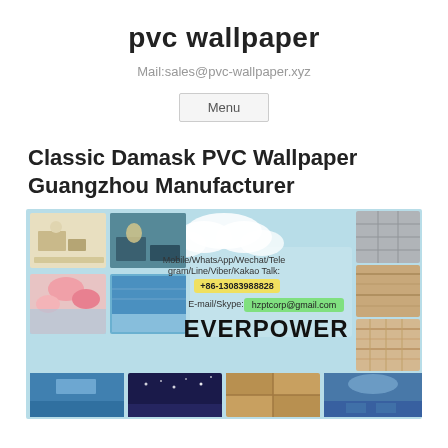pvc wallpaper
Mail:sales@pvc-wallpaper.xyz
Menu
Classic Damask PVC Wallpaper Guangzhou Manufacturer
[Figure (photo): Banner image for Everpower PVC wallpaper manufacturer showing interior design samples, wallpaper textures, and contact information: Mobile/WhatsApp/Wechat/Telegram/Line/Viber/Kakao Talk: +86-13083988828, E-mail/Skype: hzptcorp@gmail.com, EVERPOWER brand name. Below shows additional wallpaper product images.]